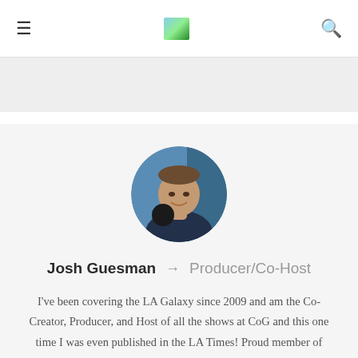≡  [logo]  🔍
[Figure (photo): Circular profile photo of Josh Guesman speaking into a microphone, wearing a dark shirt, with a blurred blue/studio background]
Josh Guesman → Producer/Co-Host
I've been covering the LA Galaxy since 2009 and am the Co-Creator, Producer, and Host of all the shows at CoG and this one time I was even published in the LA Times! Proud member of the North American Soccer Reporters (NASR). I grew up in SoCal and enjoy covering all things Galaxy related. It's where my focus is and where I feel like I can have the most impact on